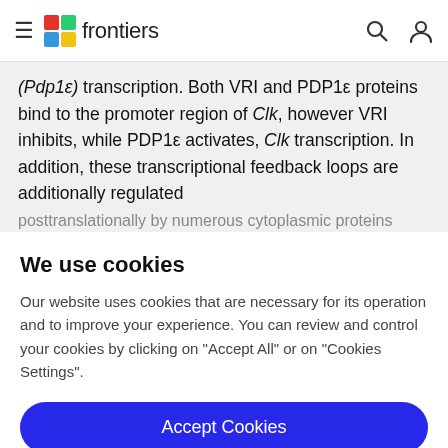frontiers
(Pdp1ε) transcription. Both VRI and PDP1ε proteins bind to the promoter region of Clk, however VRI inhibits, while PDP1ε activates, Clk transcription. In addition, these transcriptional feedback loops are additionally regulated posttranslationally by numerous cytoplasmic proteins
We use cookies
Our website uses cookies that are necessary for its operation and to improve your experience. You can review and control your cookies by clicking on "Accept All" or on "Cookies Settings".
Accept Cookies
Cookies Settings